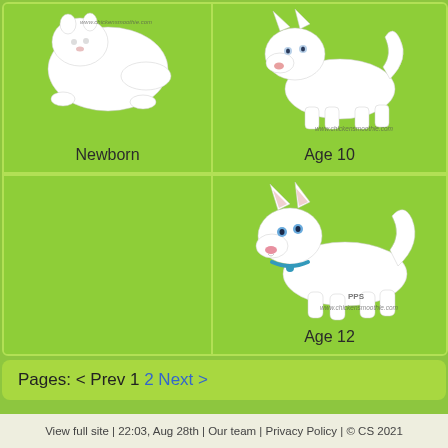[Figure (illustration): Grid of animal growth stages for a white arctic fox/wolf pet on Chicken Smoothie. Top-left: Newborn stage, white blob shape. Top-middle: Age 10, small white wolf cub standing. Top-right: partial view of older stage. Bottom-left: empty green cell. Bottom-middle: Age 12, white fox cub standing with blue collar. Bottom-right: partial empty cell.]
Pages: < Prev 1 2 Next >
View full site | 22:03, Aug 28th | Our team | Privacy Policy | © CS 2021